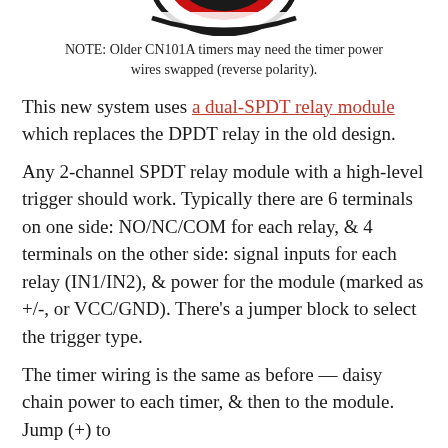[Figure (logo): Partial logo image at top of page, showing a circular emblem with red and black colors, cropped at top edge.]
NOTE: Older CN101A timers may need the timer power wires swapped (reverse polarity).
This new system uses a dual-SPDT relay module which replaces the DPDT relay in the old design.
Any 2-channel SPDT relay module with a high-level trigger should work. Typically there are 6 terminals on one side: NO/NC/COM for each relay, & 4 terminals on the other side: signal inputs for each relay (IN1/IN2), & power for the module (marked as +/-, or VCC/GND). There’s a jumper block to select the trigger type.
The timer wiring is the same as before — daisy chain power to each timer, & then to the module. Jump (+) to